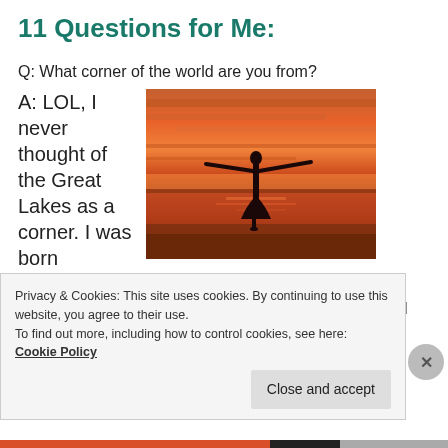11 Questions for Me:
Q: What corner of the world are you from?
A: LOL, I never thought of the Great Lakes as a corner. I was born in Cincinnati actually, but grew up a mile from Lake Michigan before I escaped to the East Coast. The day I
[Figure (photo): Silhouette of a person standing on a beach with arms outstretched against a vivid orange and red sunset sky with reflections on the wet sand.]
Privacy & Cookies: This site uses cookies. By continuing to use this website, you agree to their use.
To find out more, including how to control cookies, see here: Cookie Policy
Close and accept